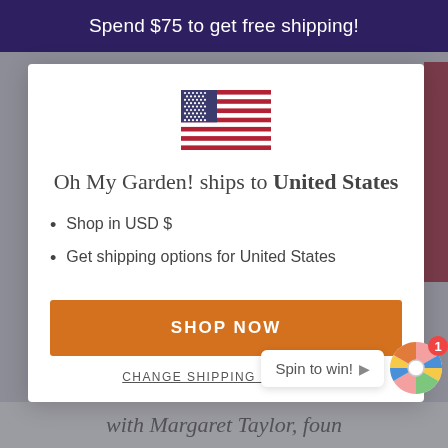Spend $75 to get free shipping!
[Figure (illustration): US flag emoji/illustration centered in modal]
Oh My Garden! ships to United States
Shop in USD $
Get shipping options for United States
SHOP NOW
CHANGE SHIPPING COUNTRY
Spin to win!
with Margaret Taylor, foun...